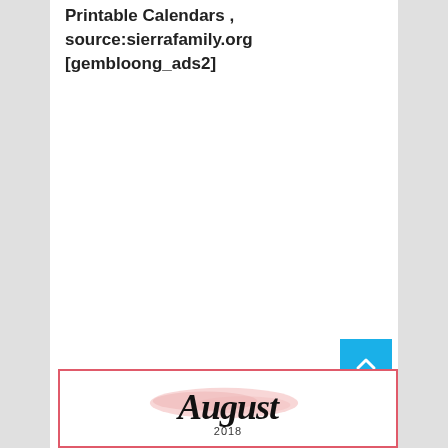Printable Calendars , source:sierrafamily.org [gembloong_ads2]
[Figure (other): Back-to-top button, blue square with white upward chevron arrow]
[Figure (other): August 2018 calendar preview thumbnail with pink border, brush stroke watercolor effect behind 'August' script text and '2018' below]